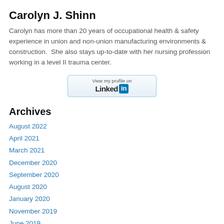Carolyn J. Shinn
Carolyn has more than 20 years of occupational health & safety experience in union and non-union manufacturing environments & construction.  She also stays up-to-date with her nursing profession working in a level II trauma center.
[Figure (other): LinkedIn profile button with text 'View my profile on Linked in']
Archives
August 2022
April 2021
March 2021
December 2020
September 2020
August 2020
January 2020
November 2019
June 2019
April 2019